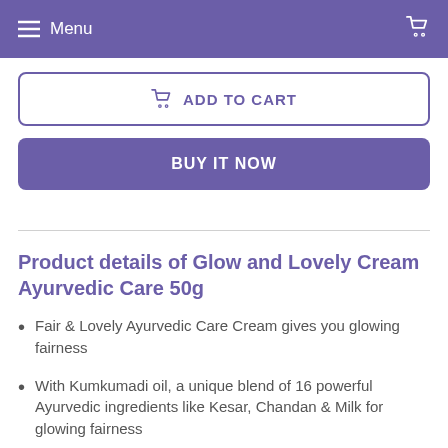Menu  [cart icon]
ADD TO CART
BUY IT NOW
Product details of Glow and Lovely Cream Ayurvedic Care 50g
Fair & Lovely Ayurvedic Care Cream gives you glowing fairness
With Kumkumadi oil, a unique blend of 16 powerful Ayurvedic ingredients like Kesar, Chandan & Milk for glowing fairness
100% Natural cream for a naturally bright, fair look